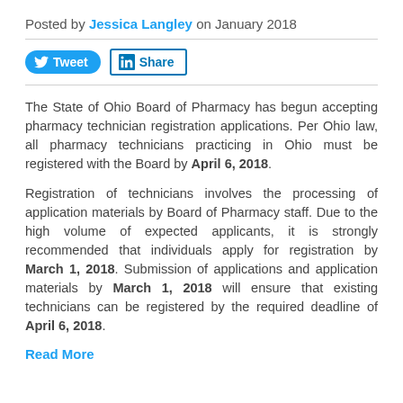Posted by Jessica Langley on January 2018
[Figure (other): Twitter Tweet button and LinkedIn Share button]
The State of Ohio Board of Pharmacy has begun accepting pharmacy technician registration applications. Per Ohio law, all pharmacy technicians practicing in Ohio must be registered with the Board by April 6, 2018.
Registration of technicians involves the processing of application materials by Board of Pharmacy staff. Due to the high volume of expected applicants, it is strongly recommended that individuals apply for registration by March 1, 2018. Submission of applications and application materials by March 1, 2018 will ensure that existing technicians can be registered by the required deadline of April 6, 2018.
Read More